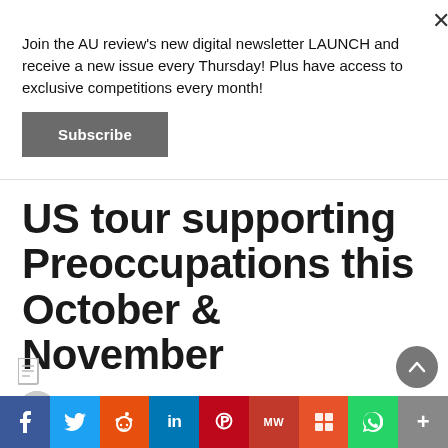Join the AU review's new digital newsletter LAUNCH and receive a new issue every Thursday! Plus have access to exclusive competitions every month!
Subscribe
US tour supporting Preoccupations this October & November
Sosefina Fuamoli  June 15, 2016  Comments Off